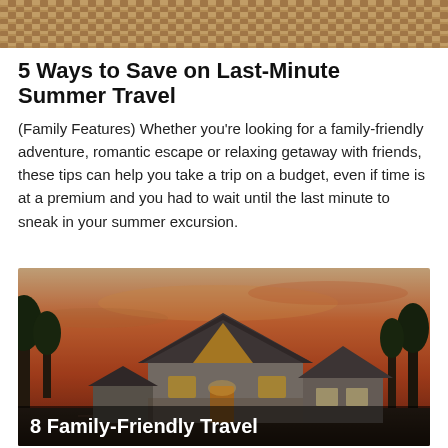[Figure (photo): Top decorative image strip, appears to be a woven or textured pattern in warm brown tones]
5 Ways to Save on Last-Minute Summer Travel
(Family Features) Whether you're looking for a family-friendly adventure, romantic escape or relaxing getaway with friends, these tips can help you take a trip on a budget, even if time is at a premium and you had to wait until the last minute to sneak in your summer excursion.
[Figure (photo): A rustic cabin/house with wooden and stone exterior, photographed at sunset with dramatic pink and orange sky. Text overlay reads: 8 Family-Friendly Travel]